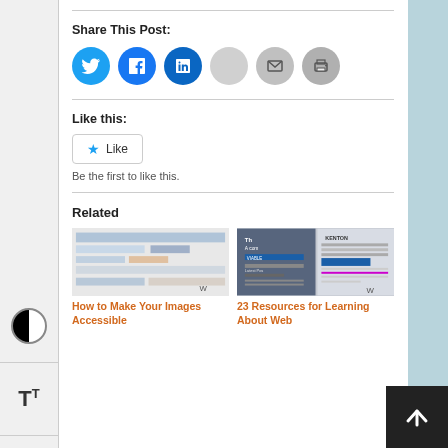Share This Post:
[Figure (other): Social sharing icons: Twitter (blue bird), Facebook (blue f), LinkedIn (blue in), share (grey), email (grey envelope), print (grey printer)]
Like this:
[Figure (other): Like button widget with star icon and 'Like' text, followed by 'Be the first to like this.']
Related
[Figure (screenshot): Thumbnail screenshot of a WordPress image accessibility page]
How to Make Your Images Accessible
[Figure (screenshot): Thumbnail screenshot of web accessibility resources page]
23 Resources for Learning About Web Accessibility